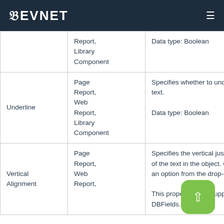DEVNET
|  |  |  |
| --- | --- | --- |
|  | Report, Library Component | Data type: Boolean |
| Underline | Page Report, Web Report, Library Component | Specifies whether to underline the text.

Data type: Boolean |
| Vertical Alignment | Page Report, Web Report, | Specifies the vertical justification of the text in the object. Choose an option from the drop-down list:

This property is not supported on DBFields. |